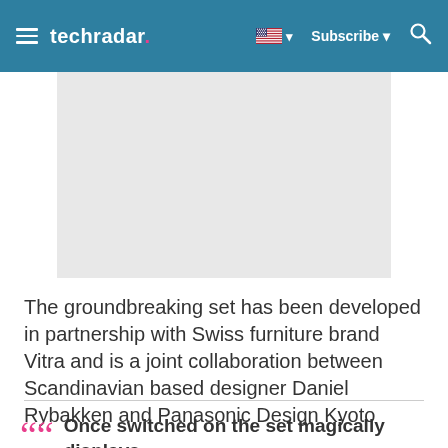techradar | Subscribe
[Figure (photo): Light gray image placeholder rectangle]
The groundbreaking set has been developed in partnership with Swiss furniture brand Vitra and is a joint collaboration between Scandinavian based designer Daniel Rybakken and Panasonic Design Kyoto
Once switched on the set magically displays